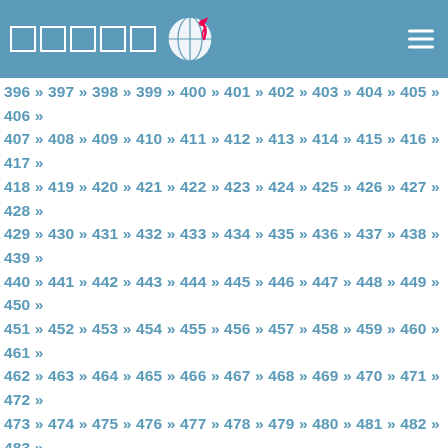Navigation header with logo squares, globe icon, and hamburger menu
396 » 397 » 398 » 399 » 400 » 401 » 402 » 403 » 404 » 405 » 406 » 407 » 408 » 409 » 410 » 411 » 412 » 413 » 414 » 415 » 416 » 417 » 418 » 419 » 420 » 421 » 422 » 423 » 424 » 425 » 426 » 427 » 428 » 429 » 430 » 431 » 432 » 433 » 434 » 435 » 436 » 437 » 438 » 439 » 440 » 441 » 442 » 443 » 444 » 445 » 446 » 447 » 448 » 449 » 450 » 451 » 452 » 453 » 454 » 455 » 456 » 457 » 458 » 459 » 460 » 461 » 462 » 463 » 464 » 465 » 466 » 467 » 468 » 469 » 470 » 471 » 472 » 473 » 474 » 475 » 476 » 477 » 478 » 479 » 480 » 481 » 482 » 483 » 484 » 485 » 486 » 487 » 488 » 489 » 490 » 491 » 492 » 493 » 494 » 495 » 496 » 497 » 498 » 499 » 500 » 501 » 502 » 503 » 504 » 505 » 506 » 507 » 508 » 509 » 510 » 511 » 512 » 513 » 514 » 515 » 516 » 517 » 518 » 519 » 520 » 521 » 522 » 523 » 524 » 525 » 526 » 527 » 528 » 529 » 530 » 531 » 532 » 533 » 534 » 535 » 536 » 537 » 538 » 539 » 540 » 541 » 542 » 543 » 544 » 545 » 546 » 547 » 548 » 549 » 550 » 551 » 552 » 553 » 554 » 555 » 556 » 557 » 558 » 559 » 560 » 561 » 562 » 563 » 564 » 565 » 566 » 567 » 568 » 569 » 570 » 571 » 572 » 573 » 574 » 575 » 576 » 577 » 578 » 579 » 580 » 581 » 582 » 583 » 584 » 585 » 586 » 587 » 588 » 589 » 590 » 591 » 592 » 593 » 594 » 595 » 596 » 597 » 598 » 599 » 600 » 601 » 602 » 603 » 604 » 605 » 606 » 607 » 608 » 609 » 610 » 611 » 612 » 613 » 614 » 615 » 616 » 617 » 618 » 619 » 620 » 621 » 622 » 623 » 624 » 625 » 626